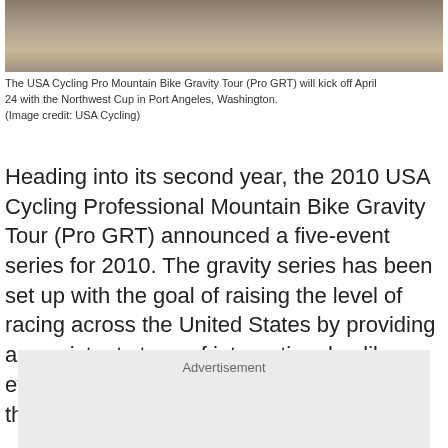[Figure (photo): Mountain bike trail photo, partial crop at top of page showing dirt trail and vegetation.]
The USA Cycling Pro Mountain Bike Gravity Tour (Pro GRT) will kick off April 24 with the Northwest Cup in Port Angeles, Washington.
(Image credit: USA Cycling)
Heading into its second year, the 2010 USA Cycling Professional Mountain Bike Gravity Tour (Pro GRT) announced a five-event series for 2010. The gravity series has been set up with the goal of raising the level of racing across the United States by providing a consistent stage of international-caliber events for elite gravity racers to showcase their downhill skills.
Advertisement